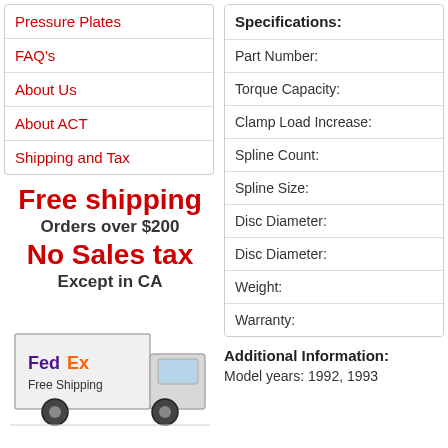Pressure Plates
FAQ's
About Us
About ACT
Shipping and Tax
Free shipping
Orders over $200
No Sales tax
Except in CA
[Figure (illustration): FedEx delivery truck with 'FedEx Free Shipping' text on the side]
| Specifications: |  |
| --- | --- |
| Part Number: |  |
| Torque Capacity: |  |
| Clamp Load Increase: |  |
| Spline Count: |  |
| Spline Size: |  |
| Disc Diameter: |  |
| Disc Diameter: |  |
| Weight: |  |
| Warranty: |  |
Additional Information:
Model years: 1992, 1993